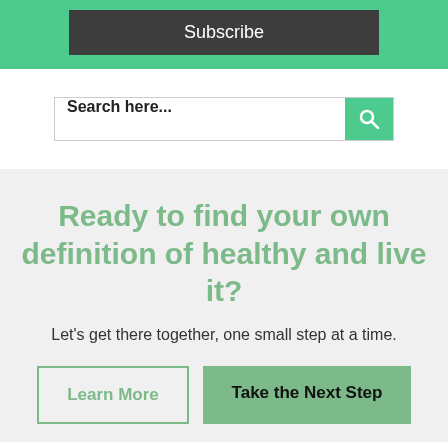Subscribe
[Figure (screenshot): Search bar with green search button and placeholder text 'Search here...']
Ready to find your own definition of healthy and live it?
Let's get there together, one small step at a time.
Learn More | Take the Next Step